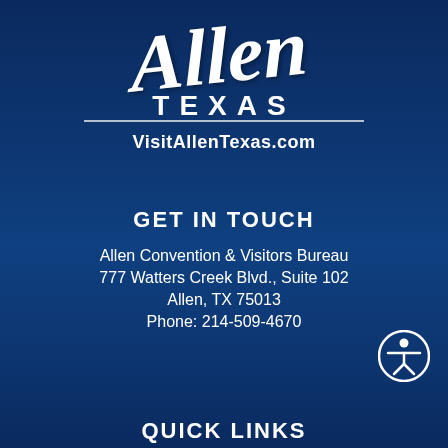[Figure (logo): Allen Texas cursive script logo with 'TEXAS' in block letters below]
VisitAllenTexas.com
GET IN TOUCH
Allen Convention & Visitors Bureau
777 Watters Creek Blvd., Suite 102
Allen, TX 75013
Phone: 214-509-4670
QUICK LINKS